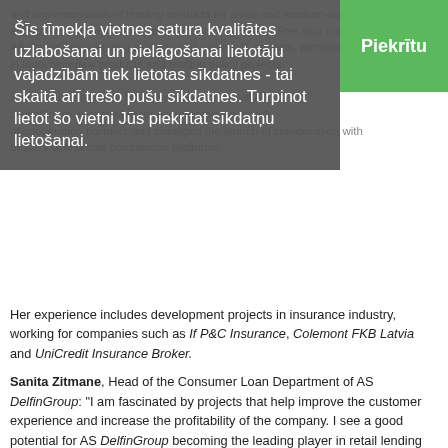and implementation of lending products for small and medium-sized enterprises, as well as loan solutions for individuals. She also managed AS DelfinGroup lending strategy and various IT projects, participating in launching new products and lending policy projects.
She also had a role in business development at AS DelfinGroup, responsible for establishing a network of cooperation partners and managed the launch of collaboration with brokers of financial comparison platforms.
Her experience includes development projects in insurance industry, working for companies such as If P&C Insurance, Colemont FKB Latvia and UniCredit Insurance Broker.
Sanita Zitmane, Head of the Consumer Loan Department of AS DelfinGroup: "I am fascinated by projects that help improve the customer experience and increase the profitability of the company. I see a good potential for AS DelfinGroup becoming the leading player in retail lending and have a significant role in the financial services segment. We have already taken the next strategic step, by broadening the range of financial products AS DelfinGroup offers to its customers, as well as increasing the maximum amount of loans which will allow us to attract new customers."
AS DelfinGroup intentionally strengthens its management team by